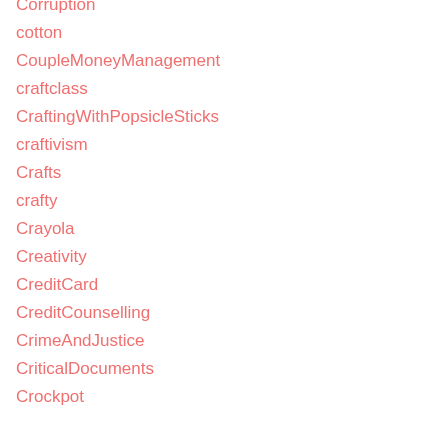Corruption
cotton
CoupleMoneyManagement
craftclass
CraftingWithPopsicleSticks
craftivism
Crafts
crafty
Crayola
Creativity
CreditCard
CreditCounselling
CrimeAndJustice
CriticalDocuments
Crockpot